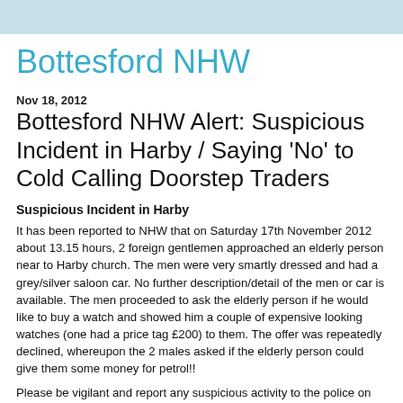Bottesford NHW
Bottesford NHW
Nov 18, 2012
Bottesford NHW Alert: Suspicious Incident in Harby / Saying 'No' to Cold Calling Doorstep Traders
Suspicious Incident in Harby
It has been reported to NHW that on Saturday 17th November 2012 about 13.15 hours, 2 foreign gentlemen approached an elderly person near to Harby church. The men were very smartly dressed and had a grey/silver saloon car. No further description/detail of the men or car is available. The men proceeded to ask the elderly person if he would like to buy a watch and showed him a couple of expensive looking watches (one had a price tag £200) to them. The offer was repeatedly declined, whereupon the 2 males asked if the elderly person could give them some money for petrol!!
Please be vigilant and report any suspicious activity to the police on 101.